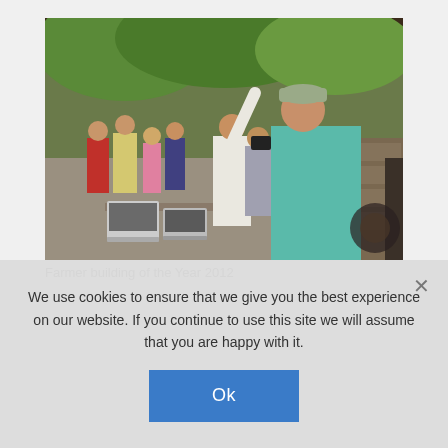[Figure (photo): Outdoor scene under a covered structure with several people standing and looking upward. A woman in a teal/turquoise long-sleeve shirt and a cap stands prominently in the foreground. Another person in a white shirt gestures upward with one arm. Other people are visible in the background, some with cameras. Laptops and equipment are visible on a table. Trees and greenery are visible in the background.]
Farmer building of the Year 2012
We use cookies to ensure that we give you the best experience on our website. If you continue to use this site we will assume that you are happy with it.